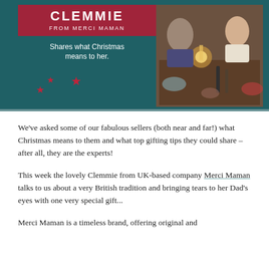[Figure (photo): Banner image with dark teal/green background on left side showing text 'CLEMMIE FROM MERCI MAMAN Shares what Christmas means to her.' with three red star decorations, and on the right side a photo of people sitting at a restaurant/dinner table with candles and dishes.]
We've asked some of our fabulous sellers (both near and far!) what Christmas means to them and what top gifting tips they could share – after all, they are the experts!
This week the lovely Clemmie from UK-based company Merci Maman talks to us about a very British tradition and bringing tears to her Dad's eyes with one very special gift...
Merci Maman is a timeless brand, offering original and